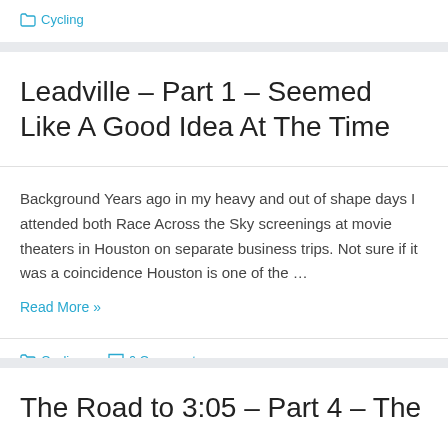Cycling
Leadville – Part 1 – Seemed Like A Good Idea At The Time
Background Years ago in my heavy and out of shape days I attended both Race Across the Sky screenings at movie theaters in Houston on separate business trips.  Not sure if it was a coincidence Houston is one of the …
Read More »
Cycling   6 Comments
The Road to 3:05 – Part 4 – The